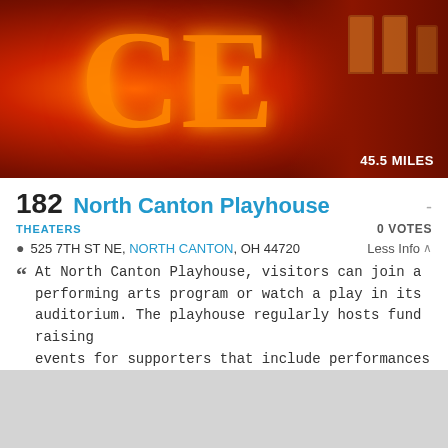[Figure (photo): Night photo of North Canton Playhouse theatre facade with glowing red/orange neon sign letters CE visible, ornate brick building with arched windows lit in warm amber tones. Distance badge reads 45.5 MILES.]
182 North Canton Playhouse
THEATERS
0 VOTES
525 7TH ST NE, NORTH CANTON, OH 44720
Less Info
At North Canton Playhouse, visitors can join a performing arts program or watch a play in its auditorium. The playhouse regularly hosts fund raising events for supporters that include performances and raffles.